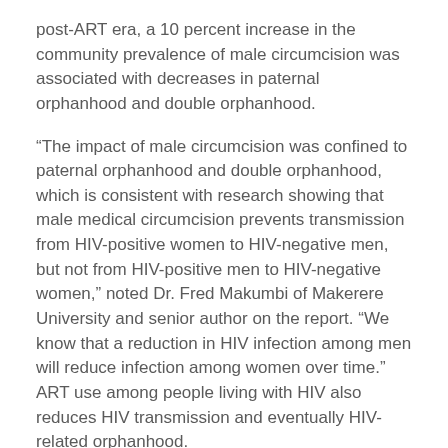post-ART era, a 10 percent increase in the community prevalence of male circumcision was associated with decreases in paternal orphanhood and double orphanhood.
“The impact of male circumcision was confined to paternal orphanhood and double orphanhood, which is consistent with research showing that male medical circumcision prevents transmission from HIV-positive women to HIV-negative men, but not from HIV-positive men to HIV-negative women,” noted Dr. Fred Makumbi of Makerere University and senior author on the report. “We know that a reduction in HIV infection among men will reduce infection among women over time.” ART use among people living with HIV also reduces HIV transmission and eventually HIV-related orphanhood.